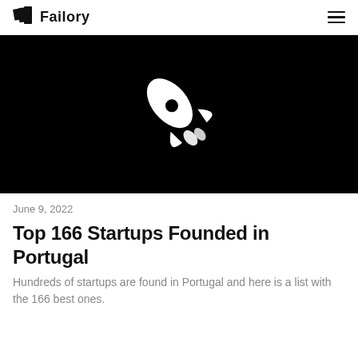Failory
[Figure (illustration): Black background with white rocket ship icon in the center, pointing upper-right.]
June 9, 2022
Top 166 Startups Founded in Portugal
Hundreds of startups are found in Portugal and here is a list with the 166 best ones.